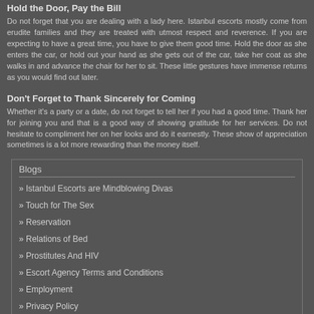Hold the Door, Pay the Bill
Do not forget that you are dealing with a lady here. Istanbul escorts mostly come from erudite families and they are treated with utmost respect and reverence. If you are expecting to have a great time, you have to give them good time. Hold the door as she enters the car, or hold out your hand as she gets out of the car, take her coat as she walks in and advance the chair for her to sit. These little gestures have immense returns as you would find out later.
Don't Forget to Thank Sincerely for Coming
Whether it's a party or a date, do not forget to tell her if you had a good time. Thank her for joining you and that is a good way of showing gratitude for her services. Do not hesitate to compliment her on her looks and do it earnestly. These show of appreciation sometimes is a lot more rewarding than the money itself.
Blogs
» Istanbul Escorts are Mindblowing Divas
» Touch for The Sex
» Reservation
» Relations of Bed
» Prostitutes And HIV
» Escort Agency Terms and Conditions
» Employment
» Privacy Policy